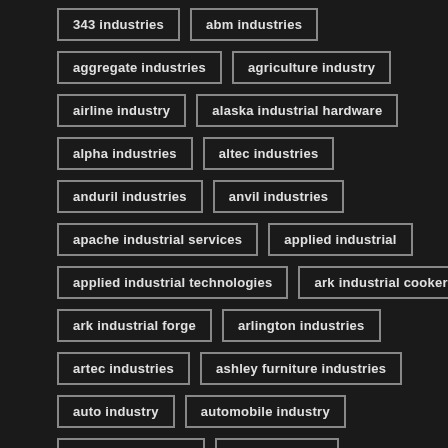343 industries
abm industries
aggregate industries
agriculture industry
airline industry
alaska industrial hardware
alpha industries
altec industries
anduril industries
anvil industries
apache industrial services
applied industrial
applied industrial technologies
ark industrial cooker
ark industrial forge
arlington industries
artec industries
ashley furniture industries
auto industry
automobile industry
baileigh industrial
bak industries